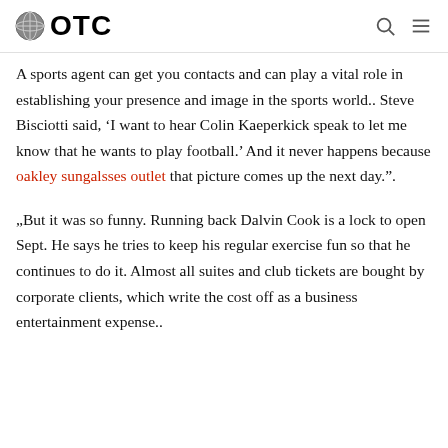OTC
A sports agent can get you contacts and can play a vital role in establishing your presence and image in the sports world.. Steve Bisciotti said, ‘I want to hear Colin Kaeperkick speak to let me know that he wants to play football.’ And it never happens because oakley sungalsses outlet that picture comes up the next day.”.
„But it was so funny. Running back Dalvin Cook is a lock to open Sept. He says he tries to keep his regular exercise fun so that he continues to do it. Almost all suites and club tickets are bought by corporate clients, which write the cost off as a business entertainment expense..